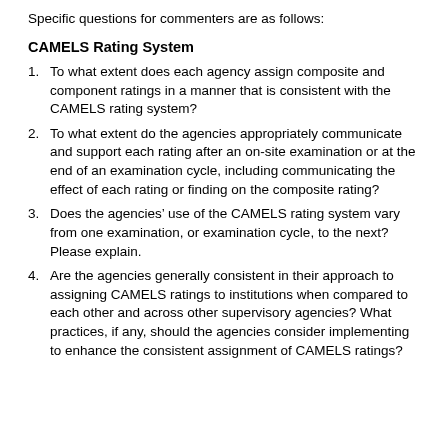Specific questions for commenters are as follows:
CAMELS Rating System
To what extent does each agency assign composite and component ratings in a manner that is consistent with the CAMELS rating system?
To what extent do the agencies appropriately communicate and support each rating after an on-site examination or at the end of an examination cycle, including communicating the effect of each rating or finding on the composite rating?
Does the agencies’ use of the CAMELS rating system vary from one examination, or examination cycle, to the next? Please explain.
Are the agencies generally consistent in their approach to assigning CAMELS ratings to institutions when compared to each other and across other supervisory agencies? What practices, if any, should the agencies consider implementing to enhance the consistent assignment of CAMELS ratings?